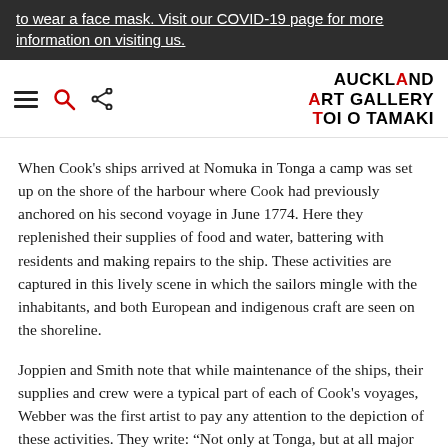to wear a face mask. Visit our COVID-19 page for more information on visiting us.
[Figure (logo): Auckland Art Gallery Toi o Tāmaki logo with navigation icons (hamburger menu, search, share)]
When Cook's ships arrived at Nomuka in Tonga a camp was set up on the shore of the harbour where Cook had previously anchored on his second voyage in June 1774. Here they replenished their supplies of food and water, battering with residents and making repairs to the ship. These activities are captured in this lively scene in which the sailors mingle with the inhabitants, and both European and indigenous craft are seen on the shoreline.
Joppien and Smith note that while maintenance of the ships, their supplies and crew were a typical part of each of Cook's voyages, Webber was the first artist to pay any attention to the depiction of these activities. They write: “Not only at Tonga, but at all major ports of call…Webber observed similar scenes, vignettes of daily